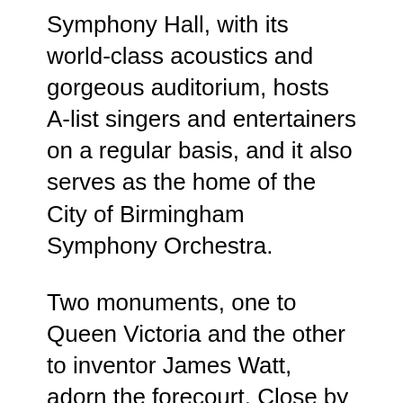Symphony Hall, with its world-class acoustics and gorgeous auditorium, hosts A-list singers and entertainers on a regular basis, and it also serves as the home of the City of Birmingham Symphony Orchestra.
Two monuments, one to Queen Victoria and the other to inventor James Watt, adorn the forecourt. Close by is the Renaissance-style Council House (1874), with its famed “Big Brum” clock (a slang term for Birmingham).
Other historic buildings to see are Chamberlain Square, which is only accessible by foot, and the Central Library. The library houses the most extensive Shakespeare collection outside of the